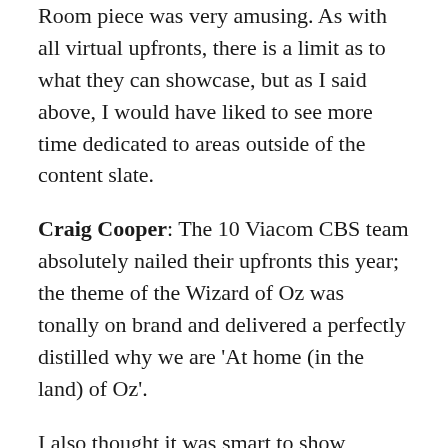Room piece was very amusing. As with all virtual upfronts, there is a limit as to what they can showcase, but as I said above, I would have liked to see more time dedicated to areas outside of the content slate.
Craig Cooper: The 10 Viacom CBS team absolutely nailed their upfronts this year; the theme of the Wizard of Oz was tonally on brand and delivered a perfectly distilled why we are 'At home (in the land) of Oz'.
I also thought it was smart to show evidence of owning the under 50s audience by linking their audiences with having the highest share of life events; it resulted in a traditionally analytical measure seeming more personable and real. I suggest this won't be the last we hear about this